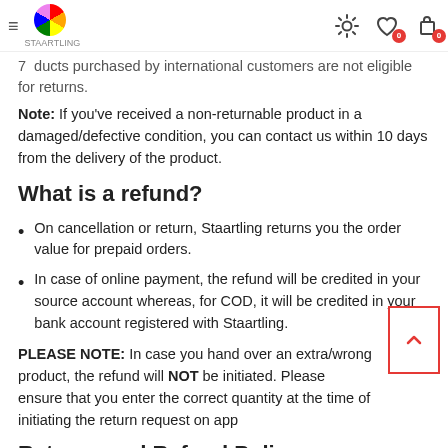Navigation bar with hamburger menu, Staartling logo, settings icon, wishlist icon (0), cart icon (0)
7. Products purchased by international customers are not eligible for returns.
Note: If you've received a non-returnable product in a damaged/defective condition, you can contact us within 10 days from the delivery of the product.
What is a refund?
On cancellation or return, Staartling returns you the order value for prepaid orders.
In case of online payment, the refund will be credited in your source account whereas, for COD, it will be credited in your bank account registered with Staartling.
PLEASE NOTE: In case you hand over an extra/wrong product, the refund will NOT be initiated. Please ensure that you enter the correct quantity at the time of initiating the return request on app
Returns and Refund Policy